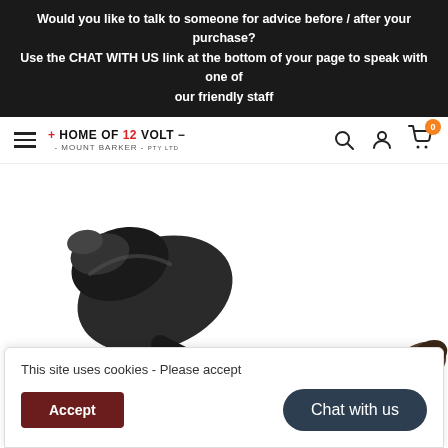Would you like to talk to someone for advice before / after your purchase? Use the CHAT WITH US link at the bottom of your page to speak with one of our friendly staff
[Figure (logo): Home of 12 Volt - Mount Barker Pty Ltd logo with navigation icons (hamburger menu, search, account, cart with 0 badge)]
[Figure (photo): Product photo showing a black electrical connector/plug component, partially visible at bottom of page]
This site uses cookies - Please accept
Accept
Chat with us